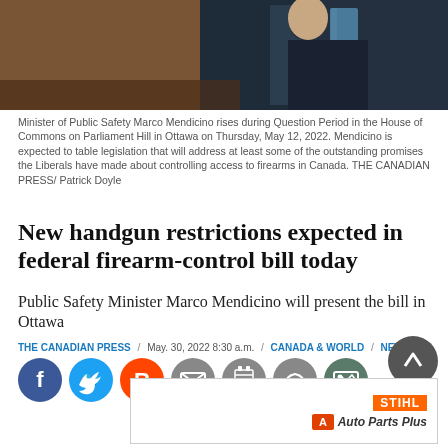[Figure (photo): Minister of Public Safety Marco Mendicino in dark suit, partial view from chest up, Parliament Hill Ottawa]
Minister of Public Safety Marco Mendicino rises during Question Period in the House of Commons on Parliament Hill in Ottawa on Thursday, May 12, 2022. Mendicino is expected to table legislation that will address at least some of the outstanding promises the Liberals have made about controlling access to firearms in Canada. THE CANADIAN PRESS/ Patrick Doyle
New handgun restrictions expected in federal firearm-control bill today
Public Safety Minister Marco Mendicino will present the bill in Ottawa
THE CANADIAN PRESS / May. 30, 2022 8:30 a.m. / CANADA & WORLD / NEWS
[Figure (infographic): Social media share buttons: Facebook, Twitter, Reddit, Email, Print, Comment, Image gallery]
[Figure (illustration): STIHL Auto Parts Plus advertisement banner]